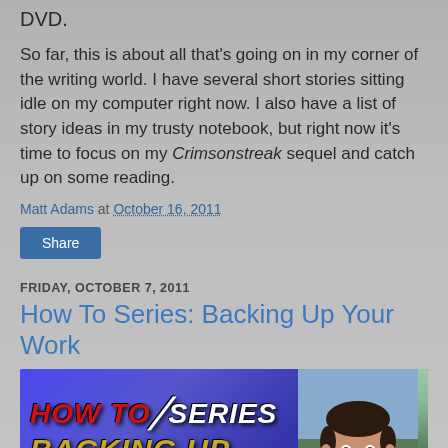DVD.
So far, this is about all that's going on in my corner of the writing world. I have several short stories sitting idle on my computer right now. I also have a list of story ideas in my trusty notebook, but right now it's time to focus on my Crimsonstreak sequel and catch up on some reading.
Matt Adams at October 16, 2011
Share
FRIDAY, OCTOBER 7, 2011
How To Series: Backing Up Your Work
[Figure (photo): Promotional image for 'How To Series: Backing Up Your Work' showing blue technical blueprint background with bold stylized text 'HOW TO SERIES' and 'BACKING UP YOUR WORK' in gold italic letters, alongside a photo of a smiling man with dark hair.]